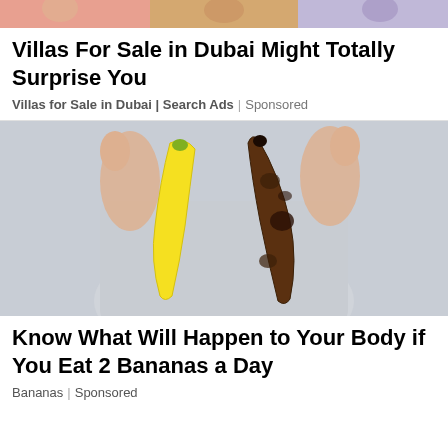[Figure (photo): Colorful banner image strip at the top showing people]
Villas For Sale in Dubai Might Totally Surprise You
Villas for Sale in Dubai | Search Ads | Sponsored
[Figure (photo): Person holding two bananas - one fresh yellow banana and one overripe brown banana]
Know What Will Happen to Your Body if You Eat 2 Bananas a Day
Bananas | Sponsored